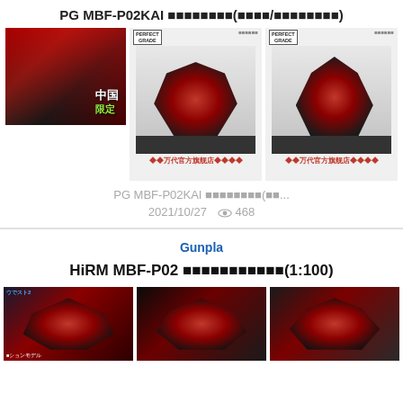PG MBF-P02KAI ■■■■■■■■(■■■■/■■■■■■■■)
[Figure (photo): Three product images of PG MBF-P02KAI Gundam model kit showing the mecha in red and black color scheme with Chinese text overlay and Bandai official store banners]
PG MBF-P02KAI ■■■■■■■■(■■■...
2021/10/27  468
Gunpla
HiRM MBF-P02 ■■■■■■■■■■■(1:100)
[Figure (photo): Three product images of HiRM MBF-P02 model kit showing the mecha in dark red and black color scheme]